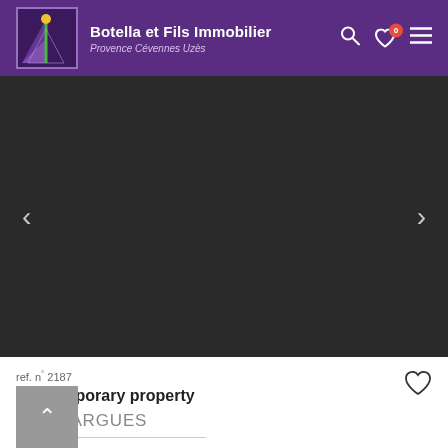Botella et Fils Immobilier — Provence Cévennes Uzès
[Figure (screenshot): Dark property image carousel/slider with left and right navigation arrows on a dark background]
ref. n° 2187
Contemporary property
GOUDARGUES